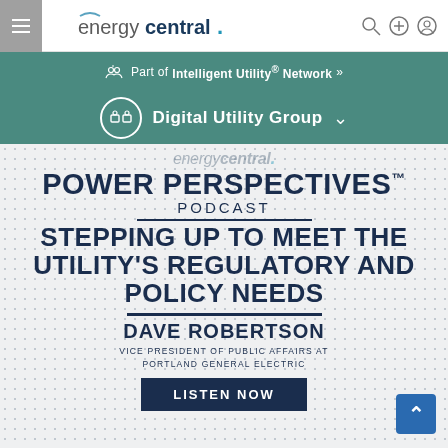energycentral. navigation bar
Part of Intelligent Utility® Network »
Digital Utility Group
[Figure (logo): energycentral. logo watermark in background]
POWER PERSPECTIVES™ PODCAST
STEPPING UP TO MEET THE UTILITY'S REGULATORY AND POLICY NEEDS
DAVE ROBERTSON
VICE PRESIDENT OF PUBLIC AFFAIRS AT PORTLAND GENERAL ELECTRIC
LISTEN NOW